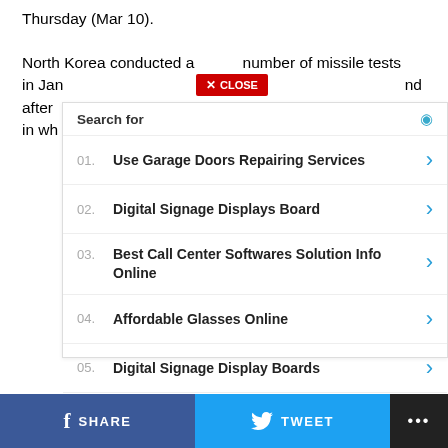Thursday (Mar 10).
North Korea conducted a record number of missile tests in January and after week in which
[Figure (screenshot): A 'CLOSE' button overlay in red with white text and X icon]
[Figure (screenshot): Search for overlay panel with Yahoo sponsored search results: 01. Use Garage Doors Repairing Services, 02. Digital Signage Displays Board, 03. Best Call Center Softwares Solution Info Online, 04. Affordable Glasses Online, 05. Digital Signage Display Boards. Footer: Yahoo! Search | Sponsored]
[Figure (screenshot): Bottom share bar with Facebook SHARE, Twitter TWEET, and more (...) buttons]